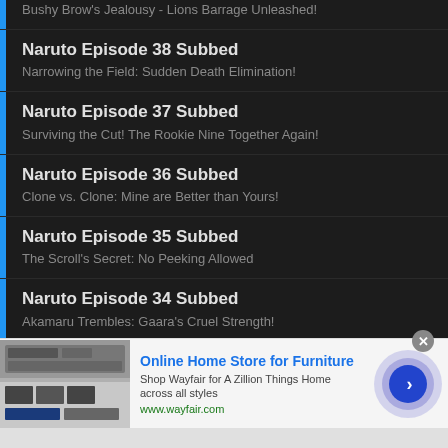Bushy Brow's Jealousy - Lions Barrage Unleashed!
Naruto Episode 38 Subbed
Narrowing the Field: Sudden Death Elimination!
Naruto Episode 37 Subbed
Surviving the Cut! The Rookie Nine Together Again!
Naruto Episode 36 Subbed
Clone vs. Clone: Mine are Better than Yours!
Naruto Episode 35 Subbed
The Scroll's Secret: No Peeking Allowed
Naruto Episode 34 Subbed
Akamaru Trembles: Gaara's Cruel Strength!
[Figure (screenshot): Advertisement banner for Wayfair online furniture store with product image, text and navigation arrow button]
Online Home Store for Furniture
Shop Wayfair for A Zillion Things Home across all styles
www.wayfair.com